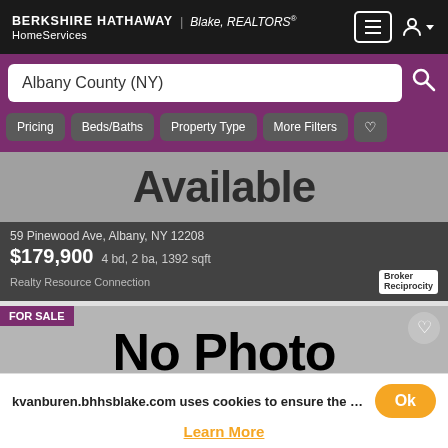BERKSHIRE HATHAWAY | Blake, REALTORS® HomeServices
Albany County (NY)
Pricing
Beds/Baths
Property Type
More Filters
[Figure (screenshot): Listing photo showing 'No Photo Available' placeholder with property details: 59 Pinewood Ave, Albany, NY 12208, $179,900 4 bd, 2 ba, 1392 sqft, Realty Resource Connection]
59 Pinewood Ave, Albany, NY 12208
$179,900 4 bd, 2 ba, 1392 sqft
Realty Resource Connection
[Figure (screenshot): Second listing with FOR SALE badge, 'No Photo Available' placeholder, 00 Christina Ct, Ravena, NY 12143, $33,000, Coldwell Banker Prime Prop.]
00 Christina Ct, Ravena, NY 12143
$33,000
Coldwell Banker Prime Prop.
kvanburen.bhhsblake.com uses cookies to ensure the best e
Ok
Learn More
FOR SALE